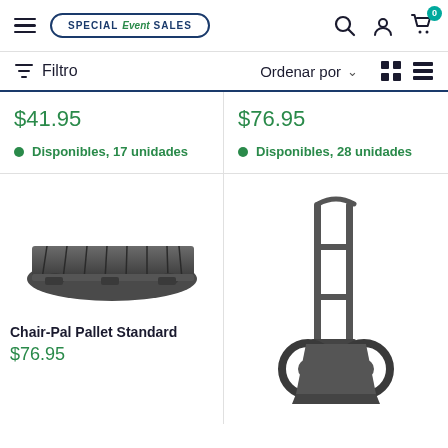Special Event Sales — navigation header with hamburger menu, logo, search, account, and cart (0)
Filtro    Ordenar por ∨
$41.95
Disponibles, 17 unidades
$76.95
Disponibles, 28 unidades
[Figure (photo): Chair-Pal Pallet Standard product image — flat rectangular dark grey plastic pallet]
Chair-Pal Pallet Standard
$76.95
[Figure (photo): Hand truck / dolly product image — metal upright hand truck with two wheels]